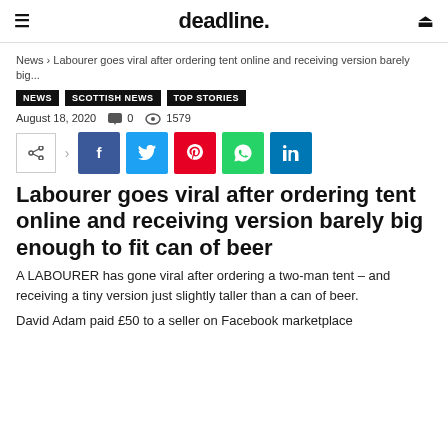deadline.
News › Labourer goes viral after ordering tent online and receiving version barely big...
NEWS
SCOTTISH NEWS
TOP STORIES
August 18, 2020   0   1579
[Figure (other): Social share buttons: share icon, Facebook, Twitter, Pinterest, WhatsApp, LinkedIn]
Labourer goes viral after ordering tent online and receiving version barely big enough to fit can of beer
A LABOURER has gone viral after ordering a two-man tent – and receiving a tiny version just slightly taller than a can of beer.
David Adam paid £50 to a seller on Facebook marketplace